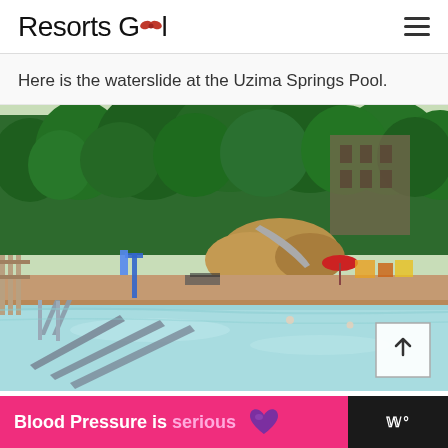Resorts Gal
Here is the waterslide at the Uzima Springs Pool.
[Figure (photo): Photo of the Uzima Springs Pool area at a Disney resort, showing a large outdoor pool with clear blue water, metal railings/steps in the foreground, lush green trees in the background, rock formations and a waterslide, a red umbrella, and a playground area. A scroll-to-top arrow button is visible in the lower right of the image.]
Blood Pressure is serious